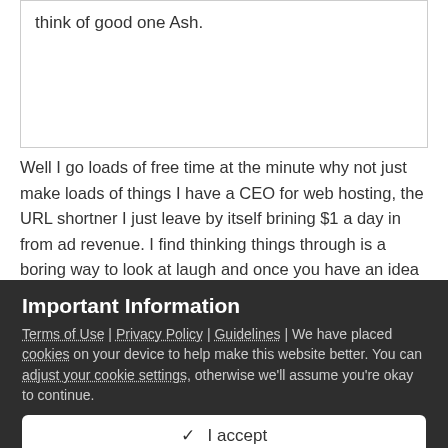think of good one Ash.
Well I go loads of free time at the minute why not just make loads of things I have a CEO for web hosting, the URL shortner I just leave by itself brining $1 a day in from ad revenue. I find thinking things through is a boring way to look at laugh and once you have an idea you should go with it. The domain I have for the Fail Blog is very unique and no other like it. I have already got people working on the pictures and no they wont be a copy picture off another website. But technically I have thought it through for a bit as I have got all these people working on it.
Important Information
Terms of Use | Privacy Policy | Guidelines | We have placed cookies on your device to help make this website better. You can adjust your cookie settings, otherwise we'll assume you're okay to continue.
✓  I accept